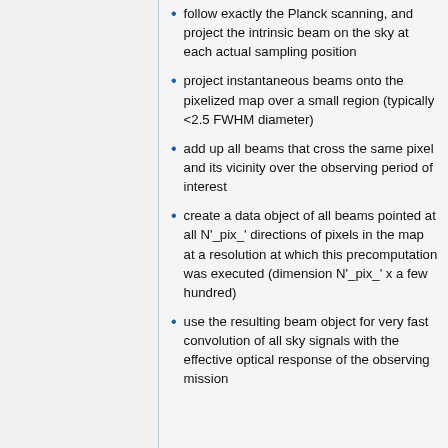follow exactly the Planck scanning, and project the intrinsic beam on the sky at each actual sampling position
project instantaneous beams onto the pixelized map over a small region (typically <2.5 FWHM diameter)
add up all beams that cross the same pixel and its vicinity over the observing period of interest
create a data object of all beams pointed at all N'_pix_' directions of pixels in the map at a resolution at which this precomputation was executed (dimension N'_pix_' x a few hundred)
use the resulting beam object for very fast convolution of all sky signals with the effective optical response of the observing mission